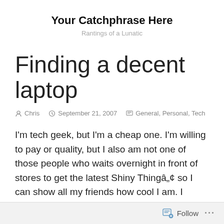Your Catchphrase Here
Rantings of a Lunatic
Finding a decent laptop
Chris  September 21, 2007  General, Personal, Tech
I'm tech geek, but I'm a cheap one. I'm willing to pay or quality, but I also am not one of those people who waits overnight in front of stores to get the latest Shiny Thingâ„¢ so I can show all my friends how cool I am. I casually look for things all the time, and get excited by them, but I rarely
Follow ...